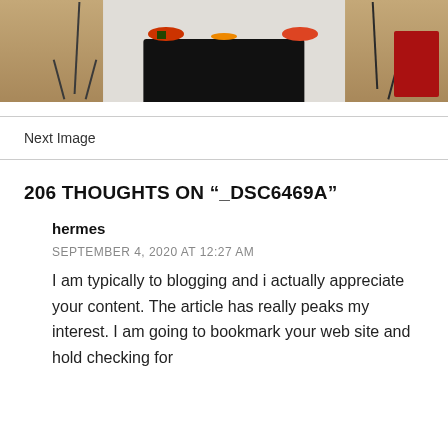[Figure (photo): A photography studio setup with a black-draped table holding flowers and fruit in the center, a white backdrop behind it, tripods on either side, and a red chair on the far right. Wooden floor visible.]
Next Image
206 THOUGHTS ON “_DSC6469A”
hermes
SEPTEMBER 4, 2020 AT 12:27 AM
I am typically to blogging and i actually appreciate your content. The article has really peaks my interest. I am going to bookmark your web site and hold checking for